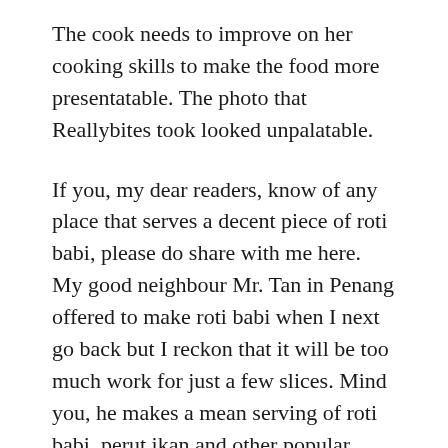The cook needs to improve on her cooking skills to make the food more presentatable. The photo that Reallybites took looked unpalatable.
If you, my dear readers, know of any place that serves a decent piece of roti babi, please do share with me here. My good neighbour Mr. Tan in Penang offered to make roti babi when I next go back but I reckon that it will be too much work for just a few slices. Mind you, he makes a mean serving of roti babi, perut ikan and other popular Peranakan dishes. In the mean time, my quest for roti babi just like how Mum used to make continues.